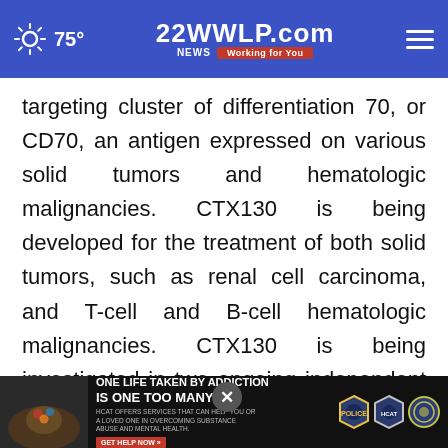75° | 22WWLP.com NEWS Working for You
targeting cluster of differentiation 70, or CD70, an antigen expressed on various solid tumors and hematologic malignancies. CTX130 is being developed for the treatment of both solid tumors, such as renal cell carcinoma, and T-cell and B-cell hematologic malignancies. CTX130 is being investigated in two ongoing independent Phase 1, single-arm, multi-center, open-label clinical trials that are designed to assess the safety [and efficacy] of CTX130 for the treatment of relapsed or
[Figure (screenshot): Advertisement banner: ONE LIFE TAKEN BY ADDICTION IS ONE TOO MANY. HCAT offers services that can help you or a loved one in overcoming substance abuse and mental health. GET HELP NOW >>  with law enforcement badge logos on right. Close (X) button overlaid.]